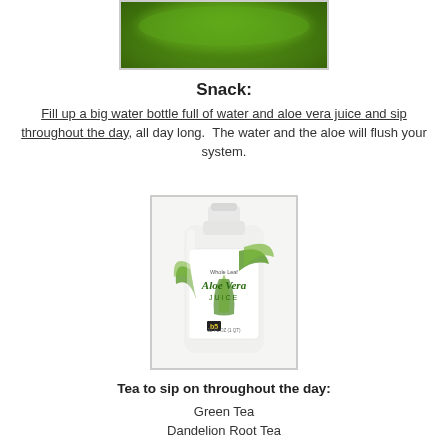[Figure (photo): Green smoothie or matcha drink in a glass bowl, top-down view, on a white marble surface]
Snack:
Fill up a big water bottle full of water and aloe vera juice and sip throughout the day, all day long.  The water and the aloe will flush your system.
[Figure (photo): White plastic bottle of Aloe Vera Juice with green aloe plant graphics on the label]
Tea to sip on throughout the day:
Green Tea
Dandelion Root Tea